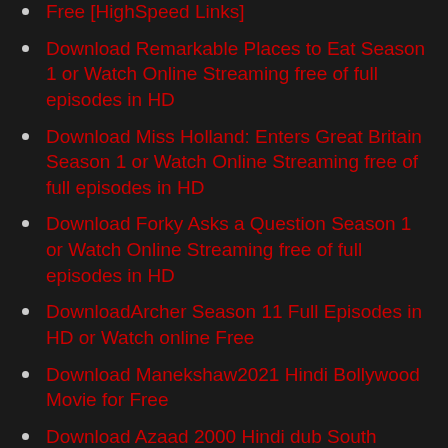Free [HighSpeed Links]
Download Remarkable Places to Eat Season 1 or Watch Online Streaming free of full episodes in HD
Download Miss Holland: Enters Great Britain Season 1 or Watch Online Streaming free of full episodes in HD
Download Forky Asks a Question Season 1 or Watch Online Streaming free of full episodes in HD
DownloadArcher Season 11 Full Episodes in HD or Watch online Free
Download Manekshaw2021 Hindi Bollywood Movie for Free
Download Azaad  2000 Hindi dub South Movie